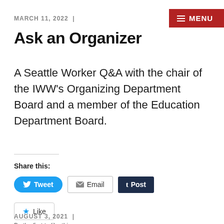MARCH 11, 2022  |
Ask an Organizer
A Seattle Worker Q&A with the chair of the IWW's Organizing Department Board and a member of the Education Department Board.
Share this:
Tweet  Email  Post
Like
Be the first to like this.
AUGUST 3, 2021  |